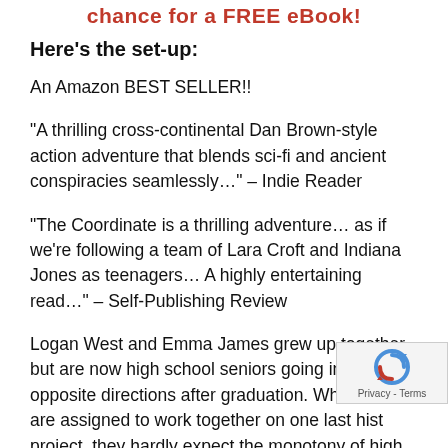chance for a FREE eBook!
Here's the set-up:
An Amazon BEST SELLER!!
“A thrilling cross-continental Dan Brown-style action adventure that blends sci-fi and ancient conspiracies seamlessly…” – Indie Reader
“The Coordinate is a thrilling adventure… as if we’re following a team of Lara Croft and Indiana Jones as teenagers… A highly entertaining read…” – Self-Publishing Review
Logan West and Emma James grew up together but are now high school seniors going in totally opposite directions after graduation. When the are assigned to work together on one last hist project, they hardly expect the monotony of high